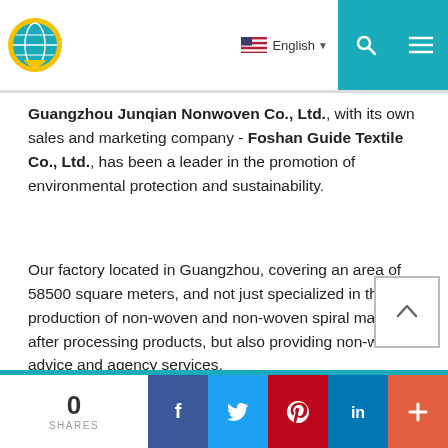Guangzhou Junqian Nonwoven Co., Ltd. — English language selector, search, and menu icons
Guangzhou Junqian Nonwoven Co., Ltd., with its own sales and marketing company - Foshan Guide Textile Co., Ltd., has been a leader in the promotion of environmental protection and sustainability.
Our factory located in Guangzhou, covering an area of 58500 square meters, and not just specialized in the production of non-woven and non-woven spiral material after processing products, but also providing non-woven advice and agency services.
0 SHARES — Facebook, Twitter, Pinterest, LinkedIn, More